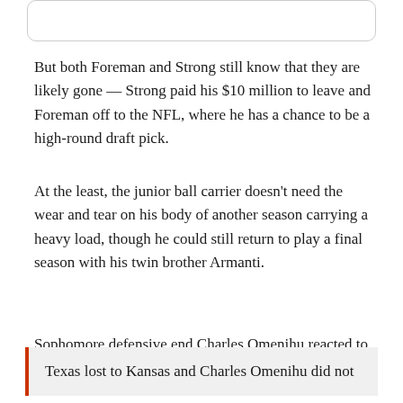But both Foreman and Strong still know that they are likely gone — Strong paid his $10 million to leave and Foreman off to the NFL, where he has a chance to be a high-round draft pick.
At the least, the junior ball carrier doesn't need the wear and tear on his body of another season carrying a heavy load, though he could still return to play a final season with his twin brother Armanti.
Sophomore defensive end Charles Omenihu reacted to the loss with anger.
Texas lost to Kansas and Charles Omenihu did not